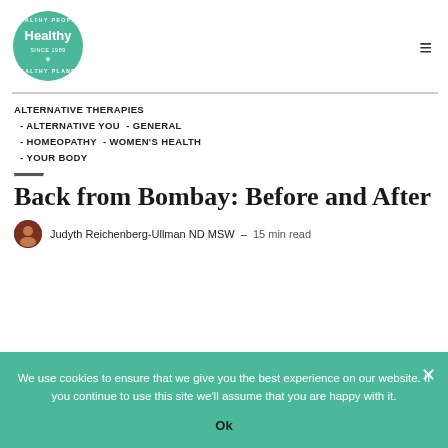[Figure (logo): Healthy People Healthy Planet circular green logo]
ALTERNATIVE THERAPIES - ALTERNATIVE YOU - GENERAL - HOMEOPATHY - WOMEN'S HEALTH - YOUR BODY
Back from Bombay: Before and After
Judyth Reichenberg-Ullman ND MSW  –  15 min read
We use cookies to ensure that we give you the best experience on our website. If you continue to use this site we'll assume that you are happy with it.
Ok